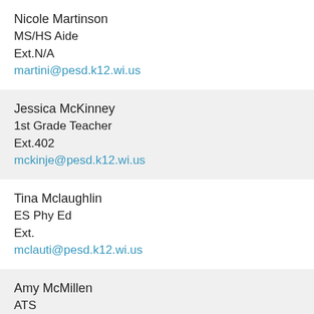Nicole Martinson
MS/HS Aide
Ext.N/A
martini@pesd.k12.wi.us
Jessica McKinney
1st Grade Teacher
Ext.402
mckinje@pesd.k12.wi.us
Tina Mclaughlin
ES Phy Ed
Ext.
mclauti@pesd.k12.wi.us
Amy McMillen
ATS
Ext.220
mcmilam@pesd.k12.wi.us
Tina Melvin
ES Admin. Assistant
Ext.304
melviti@pesd.k12.wi.us